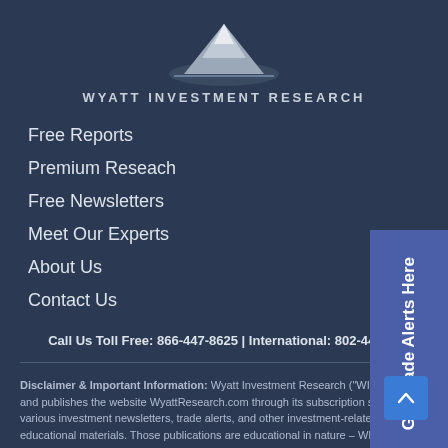[Figure (logo): Wyatt Investment Research logo with mountain/peak graphic and brand name text below]
Free Reports
Premium Reseach
Free Newsletters
Meet Our Experts
About Us
Contact Us
Get Trade Alerts Here
Call Us Toll Free: 866-447-8625 | International: 802-448-...
Disclaimer & Important Information: Wyatt Investment Research ("WIR") owns and publishes the website WyattResearch.com through its subscription services, various investment newsletters, trade alerts, and other investment-related educational materials. Those publications are educational in nature – WIR is not your